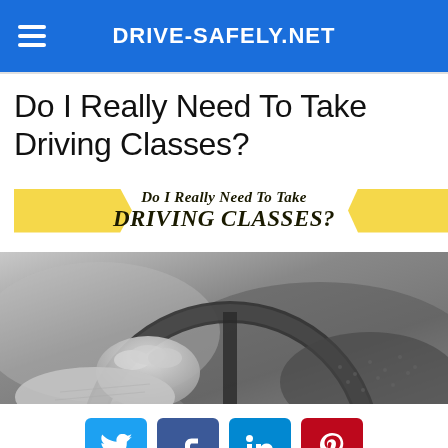DRIVE-SAFELY.NET
Do I Really Need To Take Driving Classes?
[Figure (infographic): Yellow banner with text: Do I Really Need To Take DRIVING CLASSES?]
[Figure (photo): Black and white photo of hands gripping a steering wheel]
[Figure (infographic): Social media share buttons: Twitter, Facebook, LinkedIn, Pinterest]